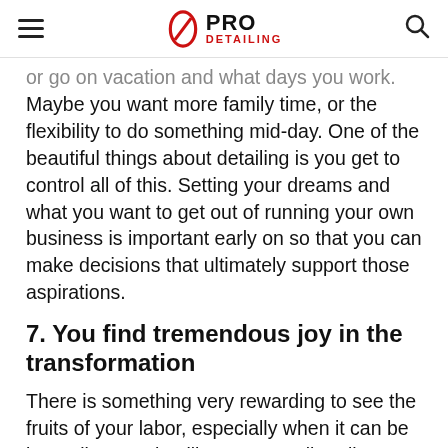PRO DETAILING
or go on vacation and what days you work. Maybe you want more family time, or the flexibility to do something mid-day. One of the beautiful things about detailing is you get to control all of this. Setting your dreams and what you want to get out of running your own business is important early on so that you can make decisions that ultimately support those aspirations.
7. You find tremendous joy in the transformation
There is something very rewarding to see the fruits of your labor, especially when it can be immediate. In detailing, you can literally